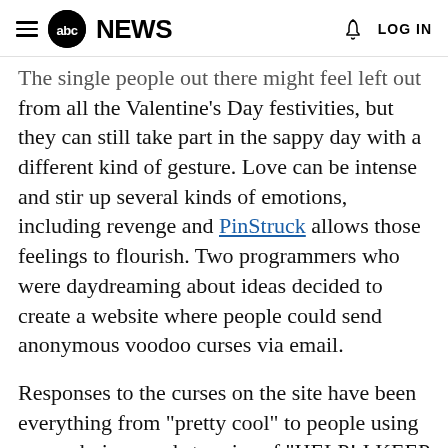ABC NEWS | LOG IN
The single people out there might feel left out from all the Valentine's Day festivities, but they can still take part in the sappy day with a different kind of gesture. Love can be intense and stir up several kinds of emotions, including revenge and PinStruck allows those feelings to flourish. Two programmers who were daydreaming about ideas decided to create a website where people could send anonymous voodoo curses via email.
Responses to the curses on the site have been everything from "pretty cool" to people using some choice words to cries of "HELP! I KEEP GETTING CURSED." So for all those exes out